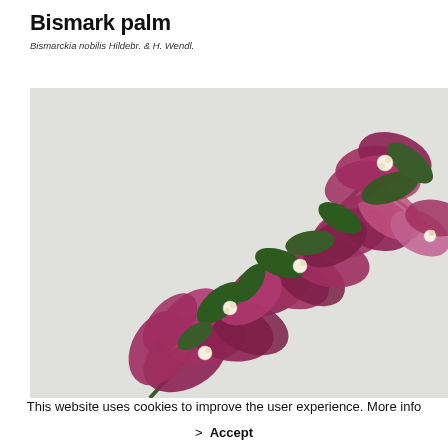Bismark palm
Bismarckia nobilis Hildebr. & H. Wendl.
[Figure (illustration): Botanical illustration of a bougainvillea branch with deep magenta/pink bracts and small white flowers, with dark green leaves, on a light background.]
This website uses cookies to improve the user experience. More info
> Accept